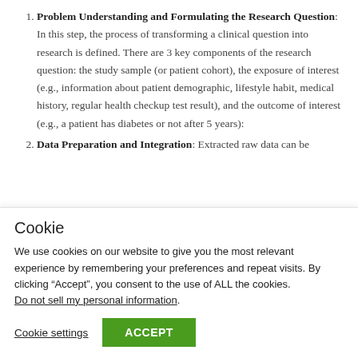Problem Understanding and Formulating the Research Question: In this step, the process of transforming a clinical question into research is defined. There are 3 key components of the research question: the study sample (or patient cohort), the exposure of interest (e.g., information about patient demographic, lifestyle habit, medical history, regular health checkup test result), and the outcome of interest (e.g., a patient has diabetes or not after 5 years):
Data Preparation and Integration: Extracted raw data can be
Cookie
We use cookies on our website to give you the most relevant experience by remembering your preferences and repeat visits. By clicking “Accept”, you consent to the use of ALL the cookies. Do not sell my personal information.
Cookie settings   ACCEPT